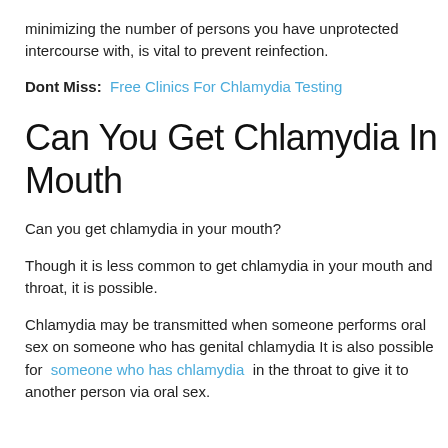minimizing the number of persons you have unprotected intercourse with, is vital to prevent reinfection.
Dont Miss:  Free Clinics For Chlamydia Testing
Can You Get Chlamydia In Mouth
Can you get chlamydia in your mouth?
Though it is less common to get chlamydia in your mouth and throat, it is possible.
Chlamydia may be transmitted when someone performs oral sex on someone who has genital chlamydia It is also possible for  someone who has chlamydia  in the throat to give it to another person via oral sex.